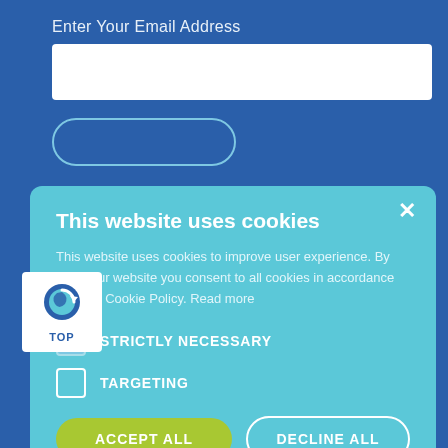Enter Your Email Address
[Figure (screenshot): Cookie consent modal dialog over a blue website background with email signup form]
This website uses cookies
This website uses cookies to improve user experience. By using our website you consent to all cookies in accordance with our Cookie Policy. Read more
STRICTLY NECESSARY
TARGETING
ACCEPT ALL
DECLINE ALL
SHOW DETAILS
s Ltd